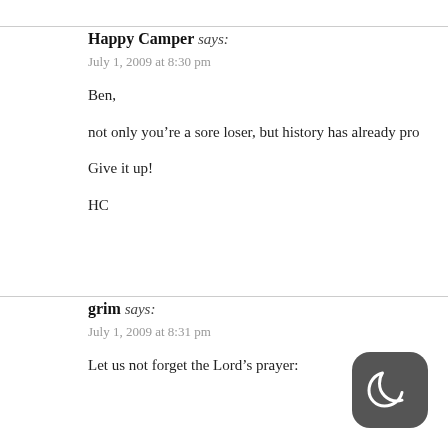Happy Camper says: July 1, 2009 at 8:30 pm
Ben,
not only you’re a sore loser, but history has already pro…
Give it up!
HC
grim says: July 1, 2009 at 8:31 pm
Let us not forget the Lord’s prayer: